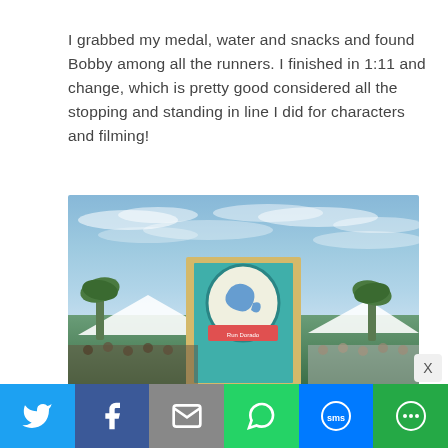I grabbed my medal, water and snacks and found Bobby among all the runners. I finished in 1:11 and change, which is pretty good considered all the stopping and standing in line I did for characters and filming!
[Figure (photo): Outdoor photo showing a large teal/turquoise sign with a dolphin logo at a race event. The sign has a yellow border. Blue sky with light clouds in the background. Palm trees visible on the sides. White tents and crowds of people visible at the bottom.]